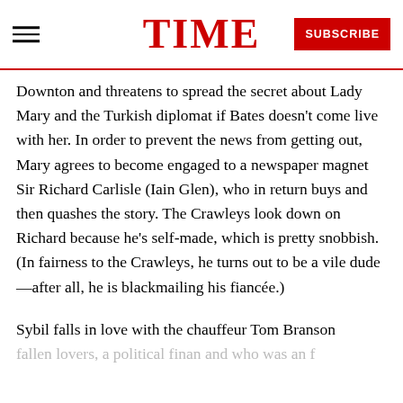TIME | SUBSCRIBE
Downton and threatens to spread the secret about Lady Mary and the Turkish diplomat if Bates doesn't come live with her. In order to prevent the news from getting out, Mary agrees to become engaged to a newspaper magnet Sir Richard Carlisle (Iain Glen), who in return buys and then quashes the story. The Crawleys look down on Richard because he's self-made, which is pretty snobbish. (In fairness to the Crawleys, he turns out to be a vile dude—after all, he is blackmailing his fiancée.)
Sybil falls in love with the chauffeur Tom Branson